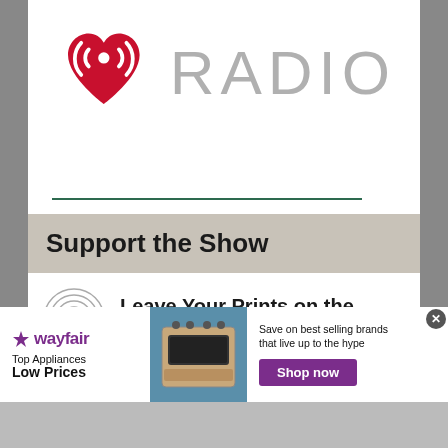[Figure (logo): iHeartRadio logo — red heart shape with radio wave arcs, followed by the word RADIO in light gray]
Support the Show
Leave Your Prints on the Podcast! If
[Figure (infographic): Wayfair advertisement banner: Top Appliances Low Prices, Save on best selling brands that live up to the hype, Shop now button, image of a stove/range appliance]